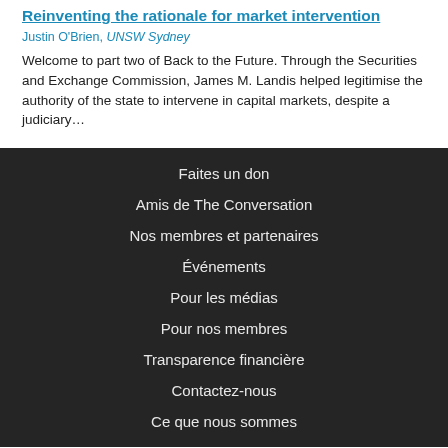Reinventing the rationale for market intervention
Justin O'Brien, UNSW Sydney
Welcome to part two of Back to the Future. Through the Securities and Exchange Commission, James M. Landis helped legitimise the authority of the state to intervene in capital markets, despite a judiciary…
Faites un don
Amis de The Conversation
Nos membres et partenaires
Événements
Pour les médias
Pour nos membres
Transparence financière
Contactez-nous
Ce que nous sommes